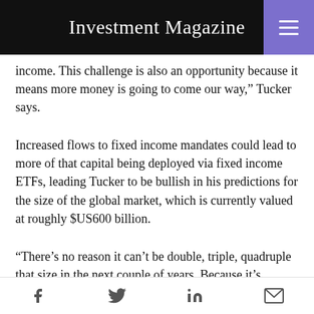Investment Magazine
income. This challenge is also an opportunity because it means more money is going to come our way,” Tucker says.
Increased flows to fixed income mandates could lead to more of that capital being deployed via fixed income ETFs, leading Tucker to be bullish in his predictions for the size of the global market, which is currently valued at roughly $US600 billion.
“There’s no reason it can’t be double, triple, quadruple that size in the next couple of years. Because it’s helping solve an investment problem, and helping to address a gap and a need in investor portfolios.”
And as fixed income ETFs become more popular with
Social share icons: Facebook, Twitter, LinkedIn, Email